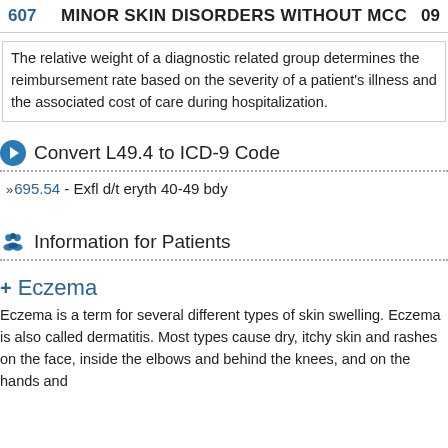607   MINOR SKIN DISORDERS WITHOUT MCC   09
The relative weight of a diagnostic related group determines the reimbursement rate based on the severity of a patient's illness and the associated cost of care during hospitalization.
Convert L49.4 to ICD-9 Code
»695.54 - Exfl d/t eryth 40-49 bdy
Information for Patients
+ Eczema
Eczema is a term for several different types of skin swelling. Eczema is also called dermatitis. Most types cause dry, itchy skin and rashes on the face, inside the elbows and behind the knees, and on the hands and